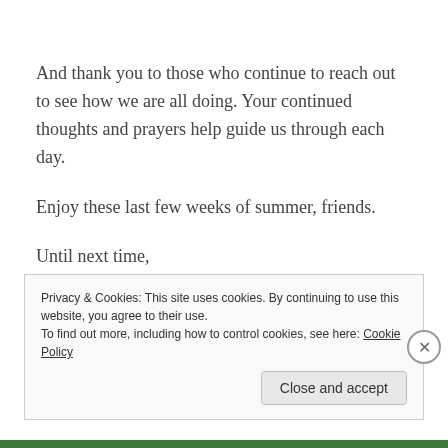And thank you to those who continue to reach out to see how we are all doing. Your continued thoughts and prayers help guide us through each day.
Enjoy these last few weeks of summer, friends.
Until next time,
Mary Beth
Privacy & Cookies: This site uses cookies. By continuing to use this website, you agree to their use. To find out more, including how to control cookies, see here: Cookie Policy
Close and accept